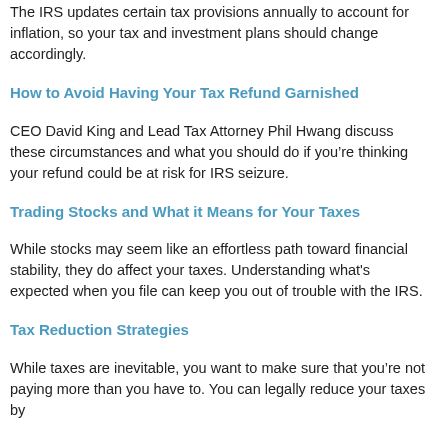The IRS updates certain tax provisions annually to account for inflation, so your tax and investment plans should change accordingly.
How to Avoid Having Your Tax Refund Garnished
CEO David King and Lead Tax Attorney Phil Hwang discuss these circumstances and what you should do if you're thinking your refund could be at risk for IRS seizure.
Trading Stocks and What it Means for Your Taxes
While stocks may seem like an effortless path toward financial stability, they do affect your taxes. Understanding what's expected when you file can keep you out of trouble with the IRS.
Tax Reduction Strategies
While taxes are inevitable, you want to make sure that you're not paying more than you have to. You can legally reduce your taxes by